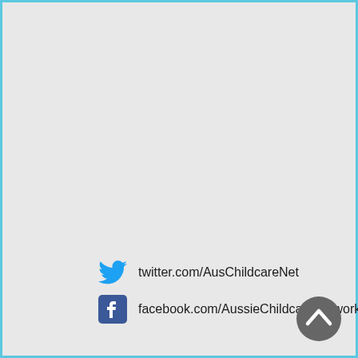twitter.com/AusChildcareNet
facebook.com/AussieChildcareNetwork